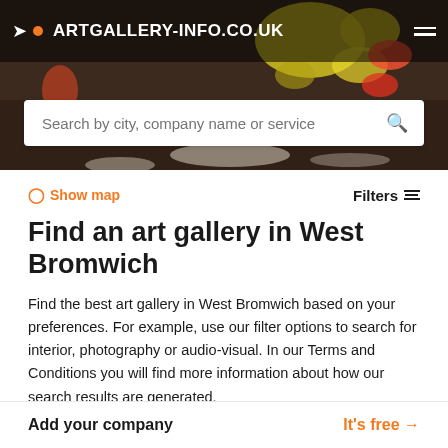ARTGALLERY-INFO.CO.UK
Search by city, company name or service
Show map
Filters
Find an art gallery in West Bromwich
Find the best art gallery in West Bromwich based on your preferences. For example, use our filter options to search for interior, photography or audio-visual. In our Terms and Conditions you will find more information about how our search results are generated.
Add your company
It's free →